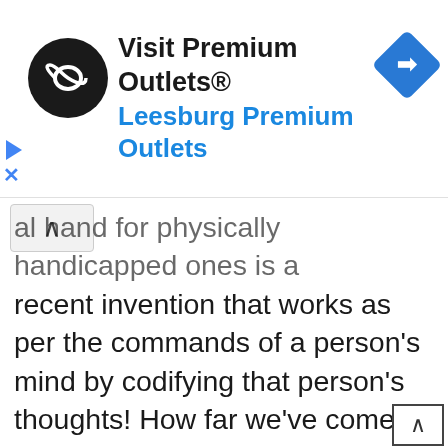[Figure (screenshot): Advertisement banner for 'Visit Premium Outlets® Leesburg Premium Outlets' with a black circular logo with a white infinity-like symbol, blue navigation arrow icon on the right, and blue/black text. Also shows a small play triangle and X close button on the left side.]
al hand for physically handicapped ones is a recent invention that works as per the commands of a person's mind by codifying that person's thoughts! How far we've come! It looks like a wonder. However, there is more to the world of realities than just AR and VR. Some realities extend beyond these two but haven't known much. In this article, we will discuss all the realities including AR, VR, MR, DR, AV and HR in detail to understand the difference between them and how these realities alter our perception of the world